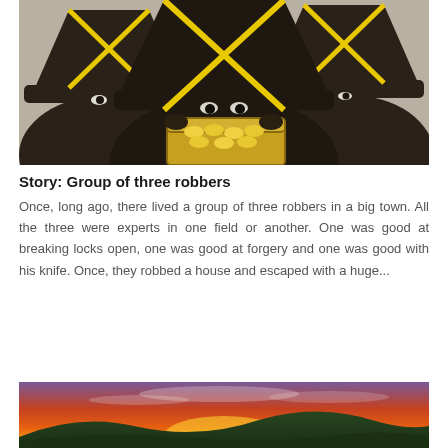[Figure (illustration): Stylized illustration of three dark-cloaked robbers wearing wide-brimmed hats with yellow ribbons, huddled around a golden treasure chest filled with coins.]
Story: Group of three robbers
Once, long ago, there lived a group of three robbers in a big town. All the three were experts in one field or another. One was good at breaking locks open, one was good at forgery and one was good with his knife. Once, they robbed a house and escaped with a huge...
[Figure (photo): A landscape photograph showing a vivid sunset with red, orange, and purple sky over green rolling hills.]